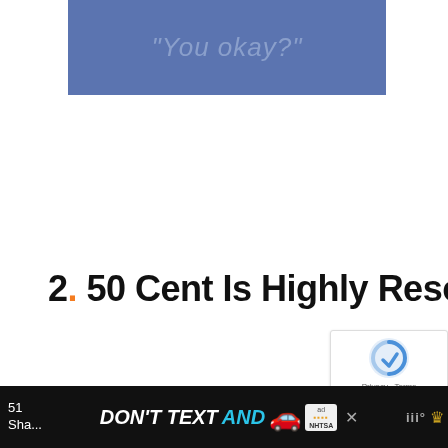[Figure (other): Blue advertisement banner with italic text reading “You okay?” in a muted blue-gray color]
2. 50 Cent Is Highly Resourceful
After 50 Cent broke into the music business, he used his earnings to begin investing and buying shares in growing
[Figure (other): Bottom advertisement bar with black background: DON'T TEXT AND [car emoji] ad badge NHTSA close button and watermark icons]
51 Shares